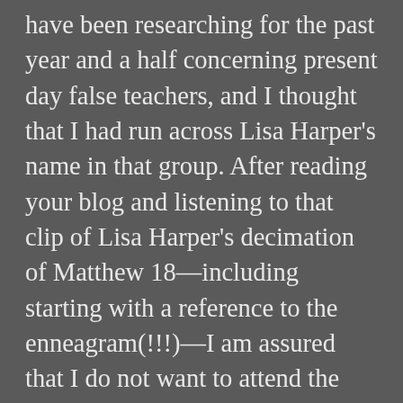have been researching for the past year and a half concerning present day false teachers, and I thought that I had run across Lisa Harper's name in that group. After reading your blog and listening to that clip of Lisa Harper's decimation of Matthew 18—including starting with a reference to the enneagram(!!!)—I am assured that I do not want to attend the Bible study. It breaks my heart that our ladies' group has been leaning toward the false teachers who emote so much and yet misrepresent Christ and His word. Thank you for your courage in presenting this information. Your research will help me to be strong if I am questioned by my sisters in this ladies'